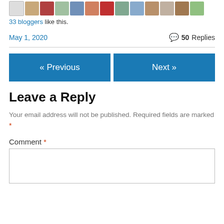[Figure (illustration): Row of small avatar/photo thumbnails of bloggers who liked the post]
33 bloggers like this.
May 1, 2020    💬 50 Replies
« Previous
Next »
Leave a Reply
Your email address will not be published. Required fields are marked *
Comment *